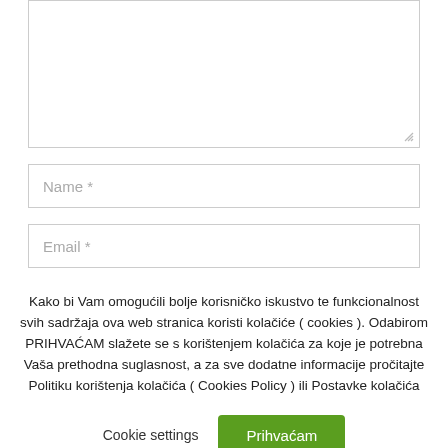[Figure (screenshot): A textarea input field with a resize handle in the bottom-right corner]
[Figure (screenshot): A text input field with placeholder text 'Name *']
[Figure (screenshot): A text input field with placeholder text 'Email *']
Kako bi Vam omogućili bolje korisničko iskustvo te funkcionalnost svih sadržaja ova web stranica koristi kolačiće ( cookies ). Odabirom PRIHVAĆAM slažete se s korištenjem kolačića za koje je potrebna Vaša prethodna suglasnost, a za sve dodatne informacije pročitajte Politiku korištenja kolačića ( Cookies Policy ) ili Postavke kolačića
Cookie settings
Prihvaćam